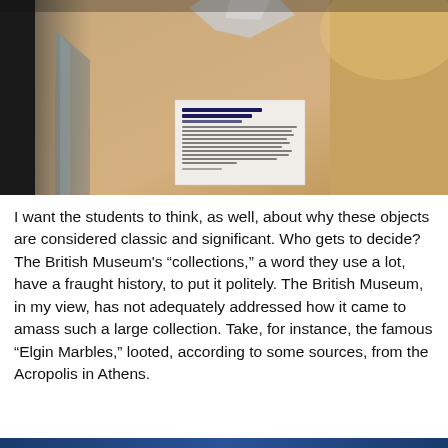[Figure (photo): Photograph taken inside the British Museum showing a display case with a museum label/placard visible, artifacts partially visible, warm ambient lighting in background]
I want the students to think, as well, about why these objects are considered classic and significant. Who gets to decide? The British Museum's “collections,” a word they use a lot, have a fraught history, to put it politely. The British Museum, in my view, has not adequately addressed how it came to amass such a large collection. Take, for instance, the famous “Elgin Marbles,” looted, according to some sources, from the Acropolis in Athens.